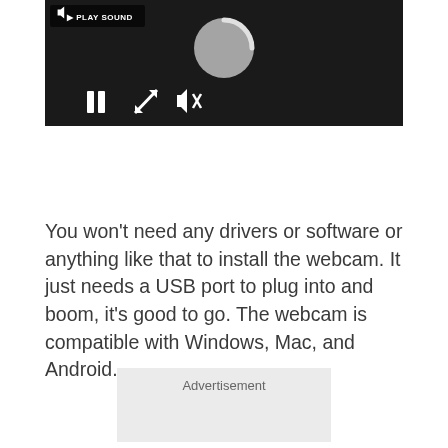[Figure (screenshot): Video player with dark background showing a loading spinner, play sound button in top-left, and playback controls (pause, resize, mute) at the bottom]
You won't need any drivers or software or anything like that to install the webcam. It just needs a USB port to plug into and boom, it's good to go. The webcam is compatible with Windows, Mac, and Android.
Advertisement